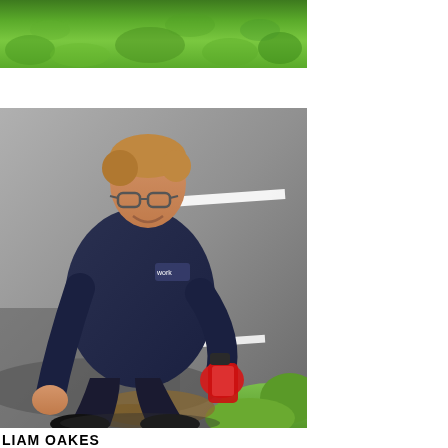[Figure (photo): Top portion of a photo showing green grass]
[Figure (photo): A man wearing navy blue workwear and red gloves crouching on a road/pavement, smiling at the camera. He appears to be doing maintenance or inspection work near a roadside drain or kerb. Road with white lines visible in background, grass at bottom right.]
LIAM OAKES